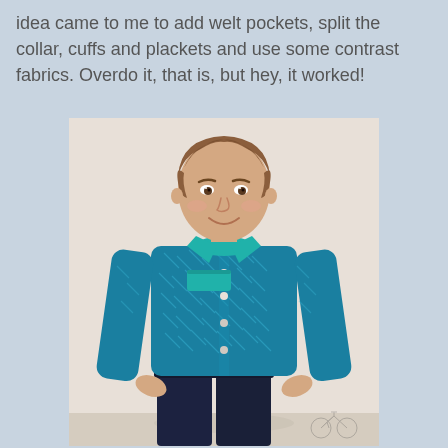idea came to me to add welt pockets, split the collar, cuffs and plackets and use some contrast fabrics. Overdo it, that is, but hey, it worked!
[Figure (photo): A young boy standing and smiling, wearing a teal/blue long-sleeve button-up shirt with a light pattern, a teal contrast collar, a teal welt chest pocket, and dark jeans. The background is a neutral off-white wall. A small faint illustration appears in the bottom right corner of the image area.]